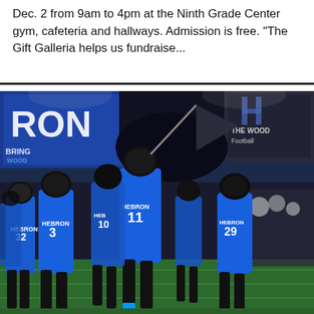Dec. 2 from 9am to 4pm at the Ninth Grade Center gym, cafeteria and hallways. Admission is free. “The Gift Galleria helps us fundraise...
[Figure (photo): Hebron high school football team running onto the field at night wearing blue uniforms with numbers 3, 11, and 29 visible. Players are carrying a large flag. Cheerleaders visible in the background. Stadium signage reads 'BRING THE WOOD' and 'THE WOOD Football'.]